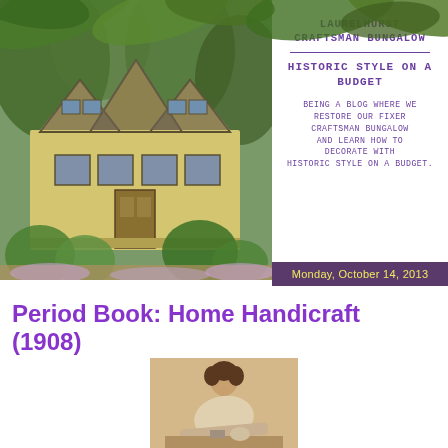[Figure (photo): Craftsman bungalow house with yellow siding, multiple gabled rooflines, surrounded by lush garden greenery]
LAURELHURST CRAFTSMAN BUNGALOW
HISTORIC STYLE ON A BUDGET
BEING A BLOG WHERE WE RESTORE OUR FIXER CRAFTSMAN BUNGALOW AND LEARN HOW TO DECORATE WITH HISTORIC STYLE ON A BUDGET.
Monday, October 14, 2013
Period Book: Home Handicraft (1908)
[Figure (photo): Sepia-toned vintage photograph of a woman leaning over a table, working on a handicraft project]